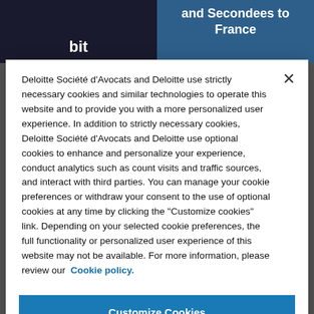[Figure (screenshot): Background showing two images: left side shows a dark building scene with partial text 'bit', right side shows a map/documents scene with white text 'and Secondees to France']
Deloitte Société d'Avocats and Deloitte use strictly necessary cookies and similar technologies to operate this website and to provide you with a more personalized user experience. In addition to strictly necessary cookies, Deloitte Société d'Avocats and Deloitte use optional cookies to enhance and personalize your experience, conduct analytics such as count visits and traffic sources, and interact with third parties. You can manage your cookie preferences or withdraw your consent to the use of optional cookies at any time by clicking the "Customize cookies" link. Depending on your selected cookie preferences, the full functionality or personalized user experience of this website may not be available. For more information, please review our Cookie policy.
Customize Cookies
Reject All